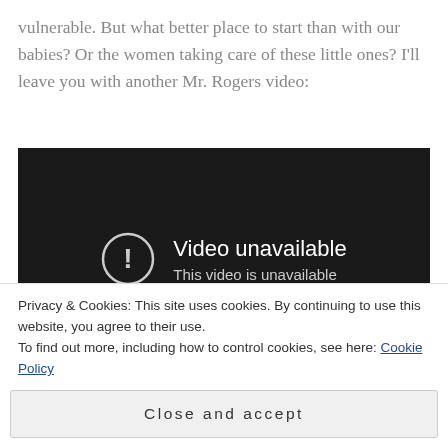vulnerable. But what better place to start than with our babies? Or the women taking care of these little ones? I'll leave you with another Mr. Rogers video:
[Figure (screenshot): Embedded video player showing a dark/black screen with a circular exclamation mark icon and text reading 'Video unavailable / This video is unavailable']
Privacy & Cookies: This site uses cookies. By continuing to use this website, you agree to their use.
To find out more, including how to control cookies, see here: Cookie Policy
Close and accept